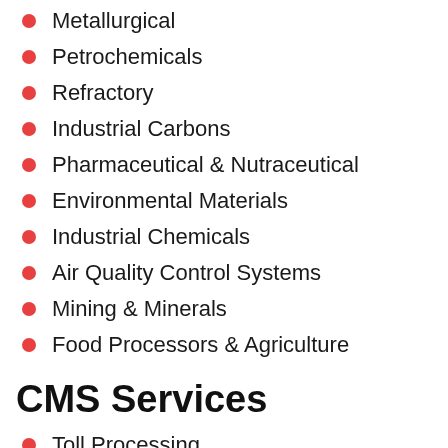Metallurgical
Petrochemicals
Refractory
Industrial Carbons
Pharmaceutical & Nutraceutical
Environmental Materials
Industrial Chemicals
Air Quality Control Systems
Mining & Minerals
Food Processors & Agriculture
CMS Services
Toll Processing